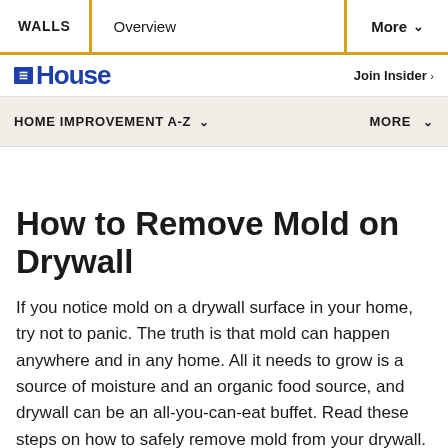WALLS | Overview | More
House | Join Insider
HOME IMPROVEMENT A-Z | MORE
How to Remove Mold on Drywall
If you notice mold on a drywall surface in your home, try not to panic. The truth is that mold can happen anywhere and in any home. All it needs to grow is a source of moisture and an organic food source, and drywall can be an all-you-can-eat buffet. Read these steps on how to safely remove mold from your drywall.